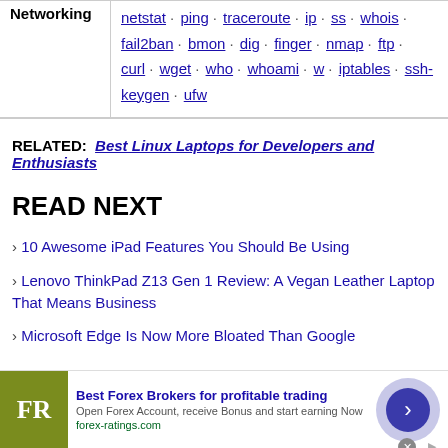| Category | Commands |
| --- | --- |
| Networking | netstat · ping · traceroute · ip · ss · whois · fail2ban · bmon · dig · finger · nmap · ftp · curl · wget · who · whoami · w · iptables · ssh-keygen · ufw |
RELATED: Best Linux Laptops for Developers and Enthusiasts
READ NEXT
10 Awesome iPad Features You Should Be Using
Lenovo ThinkPad Z13 Gen 1 Review: A Vegan Leather Laptop That Means Business
Microsoft Edge Is Now More Bloated Than Google
[Figure (other): Advertisement banner: Best Forex Brokers for profitable trading, forex-ratings.com, with FR logo and arrow button]